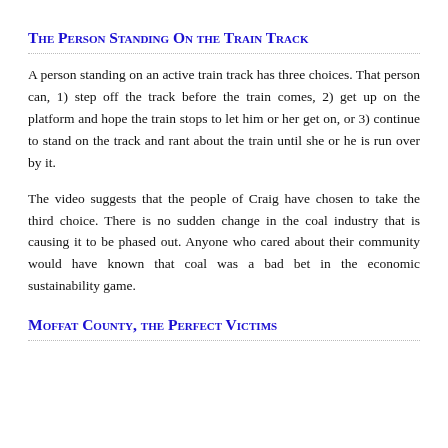The Person Standing On the Train Track
A person standing on an active train track has three choices. That person can, 1) step off the track before the train comes, 2) get up on the platform and hope the train stops to let him or her get on, or 3) continue to stand on the track and rant about the train until she or he is run over by it.
The video suggests that the people of Craig have chosen to take the third choice. There is no sudden change in the coal industry that is causing it to be phased out. Anyone who cared about their community would have known that coal was a bad bet in the economic sustainability game.
Moffat County, the Perfect Victims